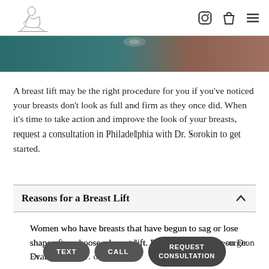Logo and navigation icons (Instagram, bag, menu)
[Figure (photo): Partial photo of a person, teal and brown tones, cropped]
A breast lift may be the right procedure for you if you've noticed your breasts don't look as full and firm as they once did. When it's time to take action and improve the look of your breasts, request a consultation in Philadelphia with Dr. Sorokin to get started.
Reasons for a Breast Lift
Women who have breasts that have begun to sag or lose shape often choose a breast lift. Philadelphia plastic surgeon Dr. Evan proc… ov… as… F
TEXT  CALL  REQUEST CONSULTATION